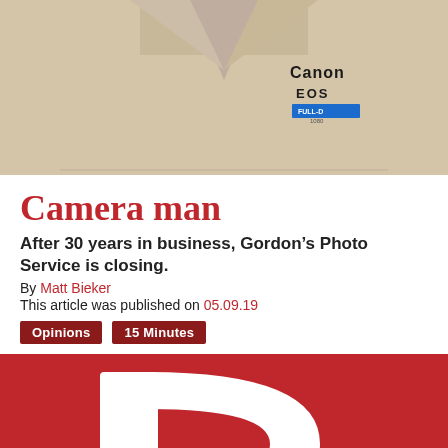[Figure (photo): Photo of a person wearing a beige/cream polo shirt with Canon EOS logo and name tag, cropped to show torso only]
Camera man
After 30 years in business, Gordon's Photo Service is closing.
By Matt Bieker
This article was published on 05.09.19
Opinions   15 Minutes
[Figure (logo): Large red background with a white stylized letter D or arrow-right shape, partial view of a publication logo]